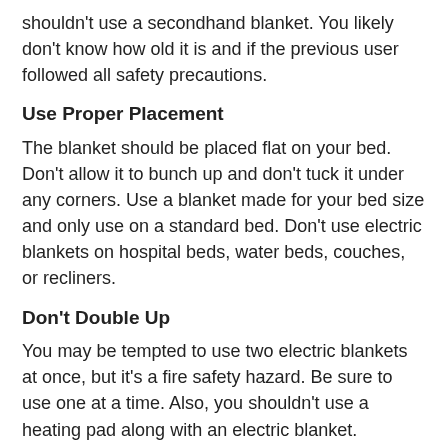shouldn't use a secondhand blanket. You likely don't know how old it is and if the previous user followed all safety precautions.
Use Proper Placement
The blanket should be placed flat on your bed. Don't allow it to bunch up and don't tuck it under any corners. Use a blanket made for your bed size and only use on a standard bed. Don't use electric blankets on hospital beds, water beds, couches, or recliners.
Don't Double Up
You may be tempted to use two electric blankets at once, but it's a fire safety hazard. Be sure to use one at a time. Also, you shouldn't use a heating pad along with an electric blanket.